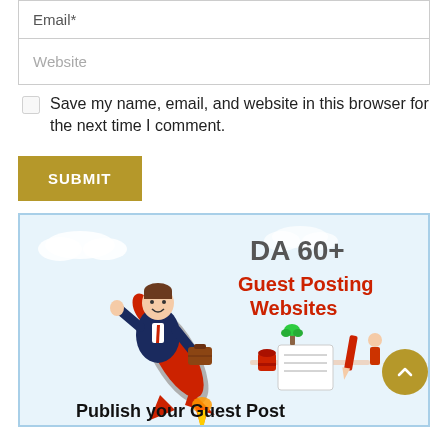Email*
Website
Save my name, email, and website in this browser for the next time I comment.
SUBMIT
[Figure (illustration): Promotional illustration showing a cartoon businessman riding a rocket, with text 'DA 60+ Guest Posting Websites' and 'Publish your Guest Post'. Includes decorative elements like a notepad, coffee cup, and plant.]